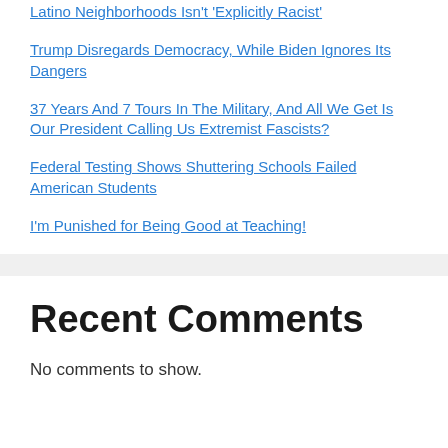Latino Neighborhoods Isn't ‘Explicitly Racist’
Trump Disregards Democracy, While Biden Ignores Its Dangers
37 Years And 7 Tours In The Military, And All We Get Is Our President Calling Us Extremist Fascists?
Federal Testing Shows Shuttering Schools Failed American Students
I’m Punished for Being Good at Teaching!
Recent Comments
No comments to show.